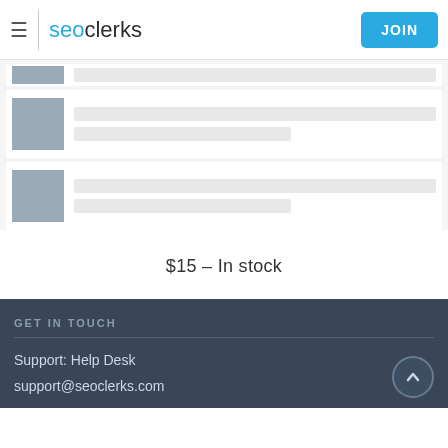seoclerks | JOIN
[Figure (screenshot): Loading skeleton placeholder rows with grey image placeholders and grey content bars]
$15 - In stock
GET IN TOUCH
Support: Help Desk
support@seoclerks.com